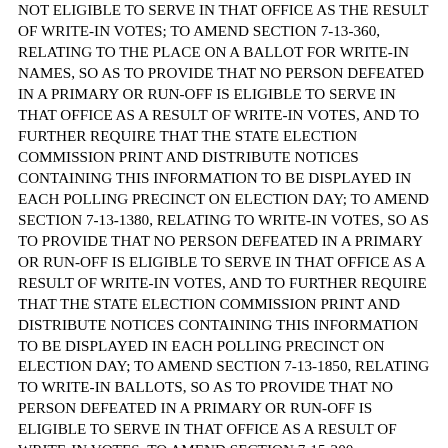NOT ELIGIBLE TO SERVE IN THAT OFFICE AS THE RESULT OF WRITE-IN VOTES; TO AMEND SECTION 7-13-360, RELATING TO THE PLACE ON A BALLOT FOR WRITE-IN NAMES, SO AS TO PROVIDE THAT NO PERSON DEFEATED IN A PRIMARY OR RUN-OFF IS ELIGIBLE TO SERVE IN THAT OFFICE AS A RESULT OF WRITE-IN VOTES, AND TO FURTHER REQUIRE THAT THE STATE ELECTION COMMISSION PRINT AND DISTRIBUTE NOTICES CONTAINING THIS INFORMATION TO BE DISPLAYED IN EACH POLLING PRECINCT ON ELECTION DAY; TO AMEND SECTION 7-13-1380, RELATING TO WRITE-IN VOTES, SO AS TO PROVIDE THAT NO PERSON DEFEATED IN A PRIMARY OR RUN-OFF IS ELIGIBLE TO SERVE IN THAT OFFICE AS A RESULT OF WRITE-IN VOTES, AND TO FURTHER REQUIRE THAT THE STATE ELECTION COMMISSION PRINT AND DISTRIBUTE NOTICES CONTAINING THIS INFORMATION TO BE DISPLAYED IN EACH POLLING PRECINCT ON ELECTION DAY; TO AMEND SECTION 7-13-1850, RELATING TO WRITE-IN BALLOTS, SO AS TO PROVIDE THAT NO PERSON DEFEATED IN A PRIMARY OR RUN-OFF IS ELIGIBLE TO SERVE IN THAT OFFICE AS A RESULT OF WRITE-IN VOTES; TO AMEND SECTION 7-15-200, RELATING TO THE FURNISHING OF ELECTION MATERIALS TO PERSONS REQUESTING ABSENTEE